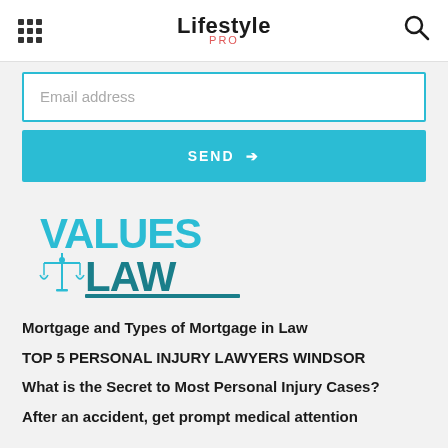Lifestyle PRO
Email address
SEND →
[Figure (logo): VALUES LAW logo with teal text and scales of justice icon]
Mortgage and Types of Mortgage in Law
TOP 5 PERSONAL INJURY LAWYERS WINDSOR
What is the Secret to Most Personal Injury Cases?
After an accident, get prompt medical attention